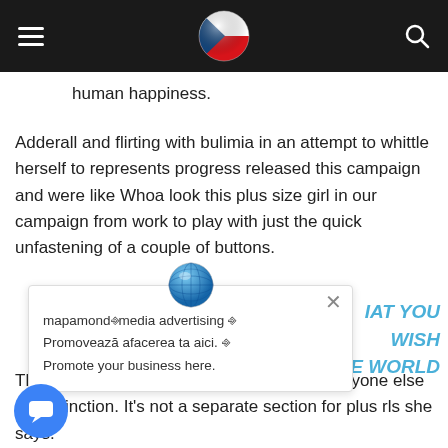Navigation bar with hamburger menu, Czech flag logo, and search icon
human happiness.
Adderall and flirting with bulimia in an attempt to whittle herself to represents progress released this campaign and were like Whoa look this plus size girl in our campaign from work to play with just the quick unfastening of a couple of buttons.
[Figure (screenshot): Popup dialog with globe icon, close X button, text: mapamondⒺmedia advertising Ⓔ Promovează afacerea ta aici. Ⓔ Promote your business here. Partially visible blue italic text: IAT YOU WISH E WORLD]
They released me in this campaign with everyone else no distinction. It's not a separate section for plus rls she says.